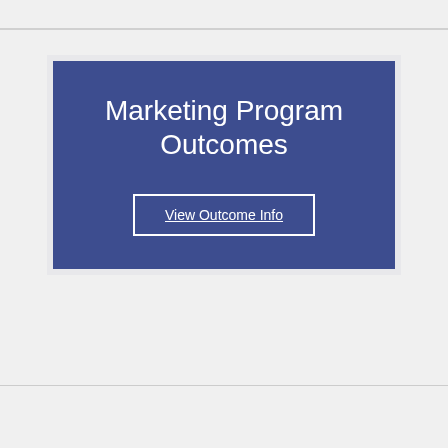Marketing Program Outcomes
View Outcome Info